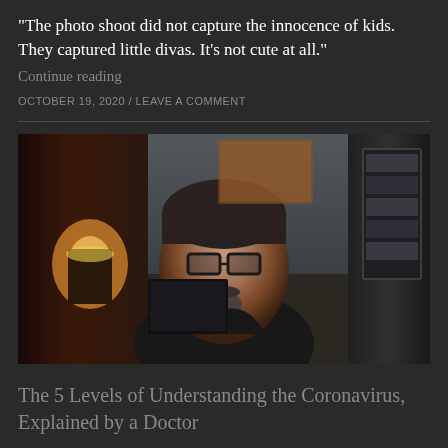“The photo shoot did not capture the innocence of kids. They captured little divas. It’s not cute at all.”
Continue reading
OCTOBER 19, 2020 / LEAVE A COMMENT
[Figure (photo): A middle-aged man with dark hair and a goatee wearing glasses and a dark shirt, sitting in front of a home office background with a lamp on the left and shelving on the right.]
The 5 Levels of Understanding the Coronavirus, Explained by a Doctor
“I am trying to find a lens from which to look at this